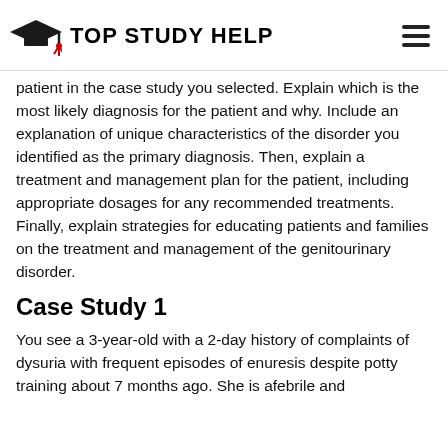[Figure (logo): Top Study Help website header with graduation cap logo and hamburger menu icon]
patient in the case study you selected. Explain which is the most likely diagnosis for the patient and why. Include an explanation of unique characteristics of the disorder you identified as the primary diagnosis. Then, explain a treatment and management plan for the patient, including appropriate dosages for any recommended treatments. Finally, explain strategies for educating patients and families on the treatment and management of the genitourinary disorder.
Case Study 1
You see a 3-year-old with a 2-day history of complaints of dysuria with frequent episodes of enuresis despite potty training about 7 months ago. She is afebrile and